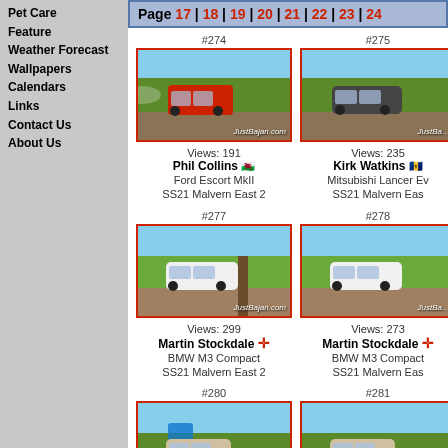Pet Care
Feature
Weather Forecast
Wallpapers
Calendars
Links
Contact Us
About Us
Page 17 | 18 | 19 | 20 | 21 | 22 | 23 | 24
[Figure (photo): #274 Rally car photo - Phil Collins, Ford Escort MkII, SS21 Malvern East 2, Views: 191]
[Figure (photo): #275 Rally car photo - Kirk Watkins, Mitsubishi Lancer Ev, SS21 Malvern East, Views: 235]
[Figure (photo): #277 Rally car photo - Martin Stockdale, BMW M3 Compact, SS21 Malvern East 2, Views: 299]
[Figure (photo): #278 Rally car photo - Martin Stockdale, BMW M3 Compact, SS21 Malvern Eas, Views: 273]
[Figure (photo): #280 Rally car photo, SS21 Malvern East]
[Figure (photo): #281 Rally car photo, SS21 Malvern East]